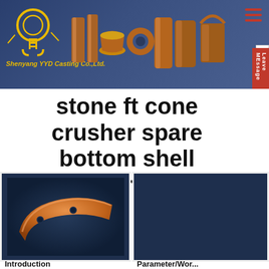[Figure (photo): Website header banner with company logo (Shenyang YYD Casting Co.,Ltd.) on dark blue background, showing multiple bronze/copper industrial parts (bushings, cylinders, flanges) in the center, hamburger menu icon top right, Leave Message sidebar on right]
stone ft cone crusher spare bottom shell bushing
[Figure (photo): Photo of a curved copper/bronze wedge-shaped piece with two holes, industrial part on dark blue background]
[Figure (photo): Photo of a cylindrical bronze bushing cup/sleeve with vertical grooves on dark blue background, with up-arrow navigation button top right]
Introduction
Parameter/Wor...